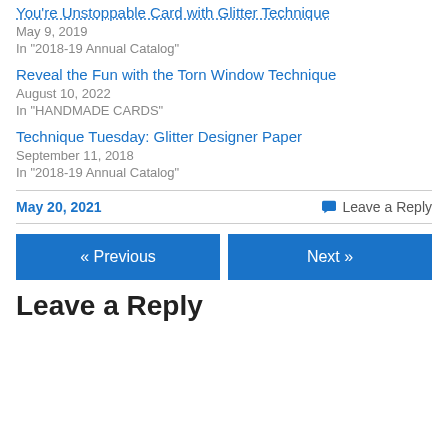You're Unstoppable Card with Glitter Technique
May 9, 2019
In "2018-19 Annual Catalog"
Reveal the Fun with the Torn Window Technique
August 10, 2022
In "HANDMADE CARDS"
Technique Tuesday: Glitter Designer Paper
September 11, 2018
In "2018-19 Annual Catalog"
May 20, 2021
Leave a Reply
« Previous
Next »
Leave a Reply